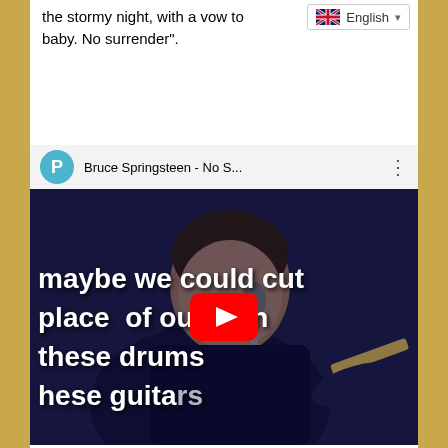the stormy night, with a vow to baby. No surrender".
[Figure (screenshot): YouTube video embed showing Bruce Springsteen performing on stage with a microphone, with lyrics overlaid: 'maybe we could cut', 'place of our own', 'these drums', 'hese guitars'. Video title bar shows 'Bruce Springsteen - No S...' with a teal P channel icon. A red YouTube play button is centered over the image.]